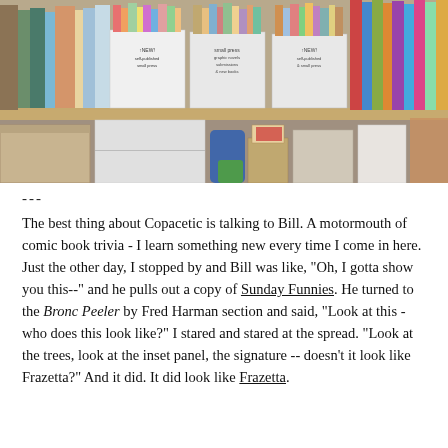[Figure (photo): Interior of a comic book / small press store showing shelves packed with books, zines, and small press publications in boxes and stacked on shelves. White cardboard boxes with handwritten signs reading 'NEW! self-published small press' and 'small press graphic novels submissions & new books'. Lower shelf shows more boxes and bags of items.]
---
The best thing about Copacetic is talking to Bill. A motormouth of comic book trivia - I learn something new every time I come in here. Just the other day, I stopped by and Bill was like, "Oh, I gotta show you this--" and he pulls out a copy of Sunday Funnies. He turned to the Bronc Peeler by Fred Harman section and said, "Look at this - who does this look like?" I stared and stared at the spread. "Look at the trees, look at the inset panel, the signature -- doesn't it look like Frazetta?" And it did. It did look like Frazetta.